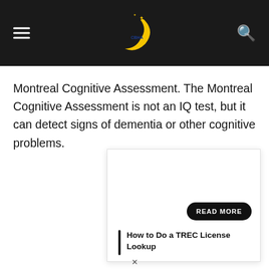[hamburger menu] [moon logo] [search icon]
Montreal Cognitive Assessment. The Montreal Cognitive Assessment is not an IQ test, but it can detect signs of dementia or other cognitive problems.
[Figure (screenshot): Card with READ MORE button and title 'How to Do a TREC License Lookup']
How to Do a TREC License Lookup